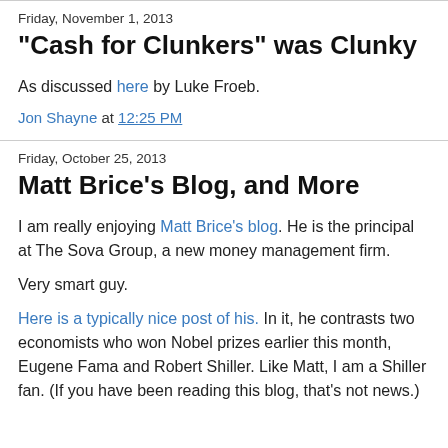Friday, November 1, 2013
"Cash for Clunkers" was Clunky
As discussed here by Luke Froeb.
Jon Shayne at 12:25 PM
Friday, October 25, 2013
Matt Brice's Blog, and More
I am really enjoying Matt Brice's blog. He is the principal at The Sova Group, a new money management firm.
Very smart guy.
Here is a typically nice post of his. In it, he contrasts two economists who won Nobel prizes earlier this month, Eugene Fama and Robert Shiller. Like Matt, I am a Shiller fan. (If you have been reading this blog, that's not news.)